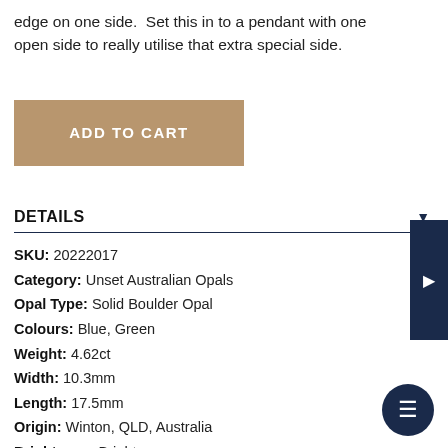edge on one side. Set this in to a pendant with one open side to really utilise that extra special side.
ADD TO CART
DETAILS
SKU: 20222017
Category: Unset Australian Opals
Opal Type: Solid Boulder Opal
Colours: Blue, Green
Weight: 4.62ct
Width: 10.3mm
Length: 17.5mm
Origin: Winton, QLD, Australia
Brightness: Bright